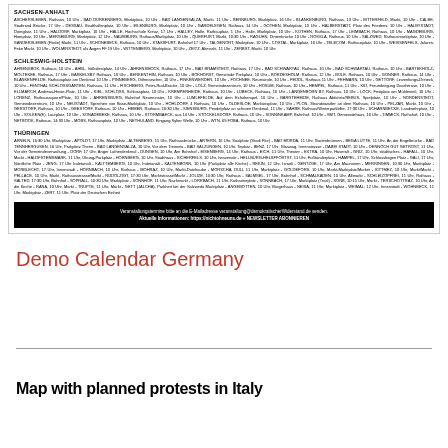SACHSEN-ANHALT
Dense listing of demonstration events in Sachsen-Anhalt with times and locations
SCHLESWIG-HOLSTEIN
Dense listing of demonstration events in Schleswig-Holstein with times and locations
THÜRINGEN
Dense listing of demonstration events in Thüringen with times and locations
Veranstaltungstermine bitte an die E-Mailadresse veranstaltung@demokratischerWiderstand.de senden. Aktuelle Informationen: https://nichtohneuns.de + NEWSLETTER ABONNIEREN
Demo Calendar Germany
Map with planned protests in Italy